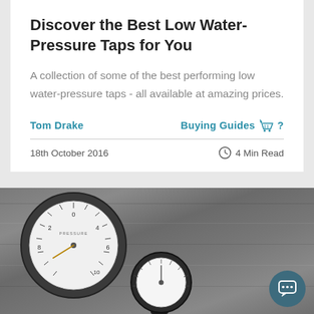Discover the Best Low Water-Pressure Taps for You
A collection of some of the best performing low water-pressure taps - all available at amazing prices.
Tom Drake
Buying Guides ?
18th October 2016
4 Min Read
[Figure (photo): Two pressure gauges on a wooden plank background. A large gauge on the left and a smaller gauge partially visible at the bottom center. A teal chat button overlay at bottom right.]